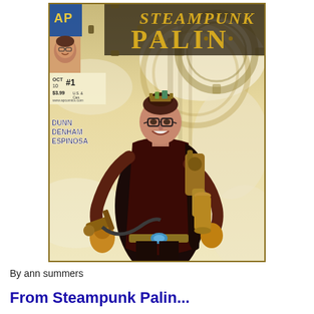[Figure (illustration): Comic book cover for 'Steampunk Palin' Issue #1. Features a woman in steampunk attire holding a ray gun, wearing glasses and a crown, with brass/gold mechanical equipment. Publisher AP logo top-left, small portrait photo of Palin top-left corner. Text: OCT 10 #1, $3.99 U.S. & Can., www.apcomics.com, DUNN DENHAM ESPINOSA. Title 'Steampunk Palin' in large golden gear-styled letters at top.]
By ann summers
From Steampunk Palin...